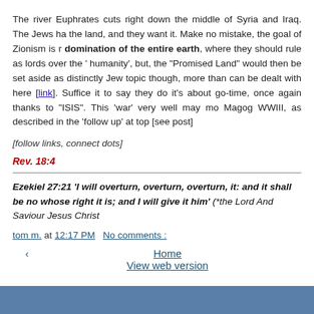The river Euphrates cuts right down the middle of Syria and Iraq. The Jews ha... the land, and they want it. Make no mistake, the goal of Zionism is r... domination of the entire earth, where they should rule as lords over the 'humanity', but, the "Promised Land" would then be set aside as distinctly Jew... topic though, more than can be dealt with here [link]. Suffice it to say they do... it's about go-time, once again thanks to "ISIS". This 'war' very well may mo... Magog WWIII, as described in the 'follow up' at top [see post]
[follow links, connect dots]
Rev. 18:4
Ezekiel 27:21 'I will overturn, overturn, overturn, it: and it shall be no... whose right it is; and I will give it him' (*the Lord And Saviour Jesus Christ...
tom m. at 12:17 PM   No comments :
Home
View web version